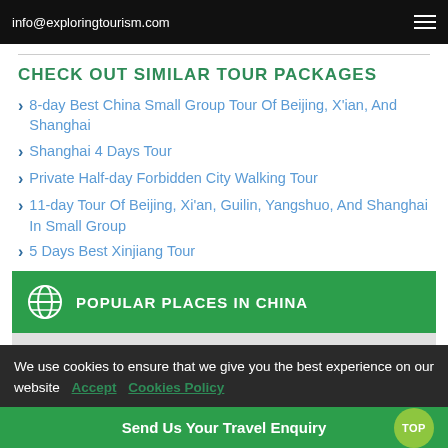info@exploringtourism.com
CHECK OUT SIMILAR TOUR PACKAGES
8-day Best China Small Group Tour Of Beijing, X'ian, And Shanghai
Shanghai 4 Days Tour
Private Half-day Forbidden City Walking Tour
11-day Tour Of Beijing, Xi'an, Guilin, Yangshuo, And Shanghai In Small Group
5 Days Best Xinjiang Tour
POPULAR PLACES IN CHINA
We use cookies to ensure that we give you the best experience on our website  Accept  Cookies Policy
Send Us Your Travel Enquiry